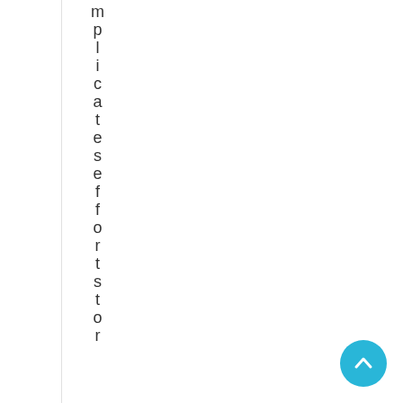mplicates effort stor
[Figure (other): Scroll-to-top button: circular teal/cyan button with upward chevron arrow icon, positioned in bottom-right corner]